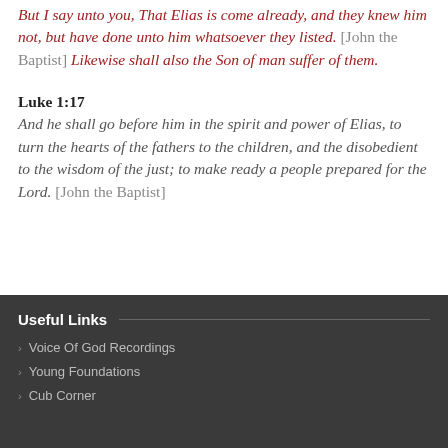But I say unto you, That Elias is come already, and they knew him not, but have done unto him whatsoever they listed. [John the Baptist] Likewise shall also the Son of man suffer of them.
Luke 1:17
And he shall go before him in the spirit and power of Elias, to turn the hearts of the fathers to the children, and the disobedient to the wisdom of the just; to make ready a people prepared for the Lord. [John the Baptist]
Useful Links
Voice Of God Recordings
Young Foundations
Cub Corner